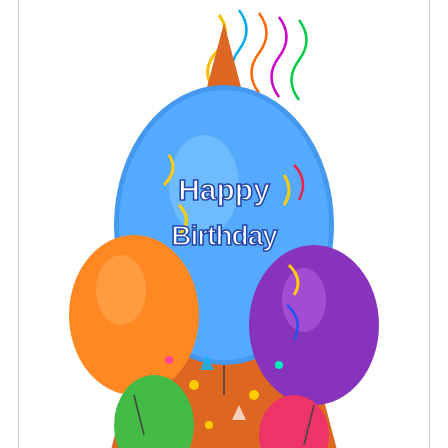[Figure (photo): A colorful party/birthday hat (cone shape) decorated with balloons, streamers and confetti. It reads 'Happy Birthday' in white bold text on a blue balloon background. The hat has a rainbow of colors — blue, green, orange, purple, pink — around the base.]
Blogo Nl Hobby Lifestyle En Koken Birthday Party Hats Party Hats Birthday Hat
[Figure (photo): A small red cone-shaped party hat with dark red polka dots, photographed from slightly above.]